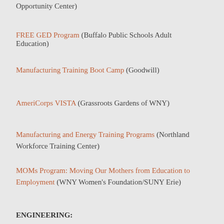Opportunity Center)
FREE GED Program (Buffalo Public Schools Adult Education)
Manufacturing Training Boot Camp (Goodwill)
AmeriCorps VISTA (Grassroots Gardens of WNY)
Manufacturing and Energy Training Programs (Northland Workforce Training Center)
MOMs Program: Moving Our Mothers from Education to Employment (WNY Women's Foundation/SUNY Erie)
ENGINEERING:
Several Career Opportunities Available (New York State Power Authority)
GAMING: